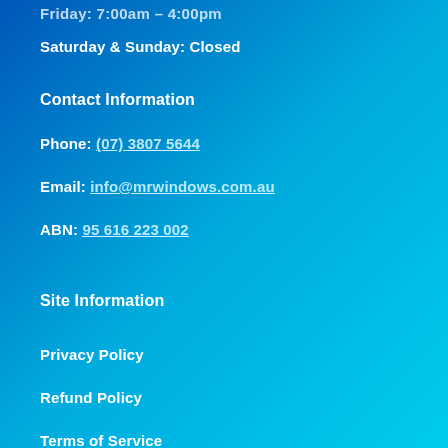Friday: 7:00am – 4:00pm
Saturday & Sunday: Closed
Contact Information
Phone: (07) 3807 5644
Email: info@mrwindows.com.au
ABN: 95 616 223 002
Site Information
Privacy Policy
Refund Policy
Terms of Service